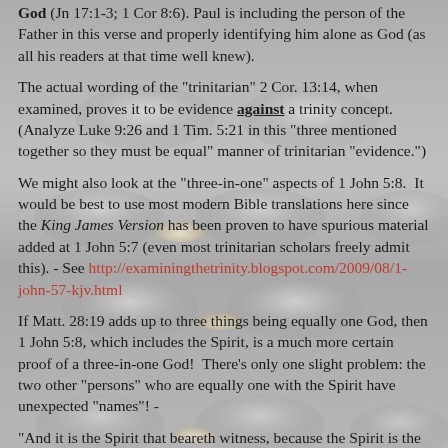God (Jn 17:1-3; 1 Cor 8:6). Paul is including the person of the Father in this verse and properly identifying him alone as God (as all his readers at that time well knew).
The actual wording of the "trinitarian" 2 Cor. 13:14, when examined, proves it to be evidence against a trinity concept. (Analyze Luke 9:26 and 1 Tim. 5:21 in this "three mentioned together so they must be equal" manner of trinitarian "evidence.")
We might also look at the "three-in-one" aspects of 1 John 5:8. It would be best to use most modern Bible translations here since the King James Version has been proven to have spurious material added at 1 John 5:7 (even most trinitarian scholars freely admit this). - See http://examiningthetrinity.blogspot.com/2009/08/1-john-57-kjv.html
If Matt. 28:19 adds up to three things being equally one God, then 1 John 5:8, which includes the Spirit, is a much more certain proof of a three-in-one God! There's only one slight problem: the two other "persons" who are equally one with the Spirit have unexpected "names"! -
"And it is the Spirit that beareth witness, because the Spirit is the